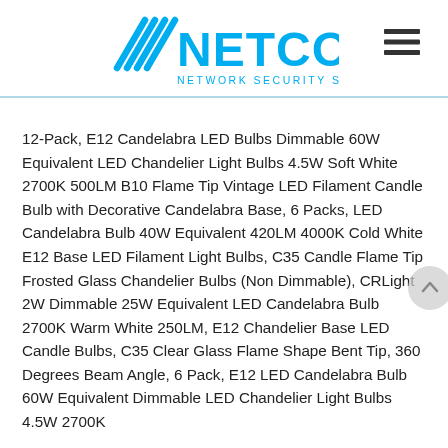NETCO NETWORK SECURITY SOLUTIONS LLC
12-Pack, E12 Candelabra LED Bulbs Dimmable 60W Equivalent LED Chandelier Light Bulbs 4.5W Soft White 2700K 500LM B10 Flame Tip Vintage LED Filament Candle Bulb with Decorative Candelabra Base, 6 Packs, LED Candelabra Bulb 40W Equivalent 420LM 4000K Cold White E12 Base LED Filament Light Bulbs, C35 Candle Flame Tip Frosted Glass Chandelier Bulbs (Non Dimmable), CRLight 2W Dimmable 25W Equivalent LED Candelabra Bulb 2700K Warm White 250LM, E12 Chandelier Base LED Candle Bulbs, C35 Clear Glass Flame Shape Bent Tip, 360 Degrees Beam Angle, 6 Pack, E12 LED Candelabra Bulb 60W Equivalent Dimmable LED Chandelier Light Bulbs 4.5W 2700K